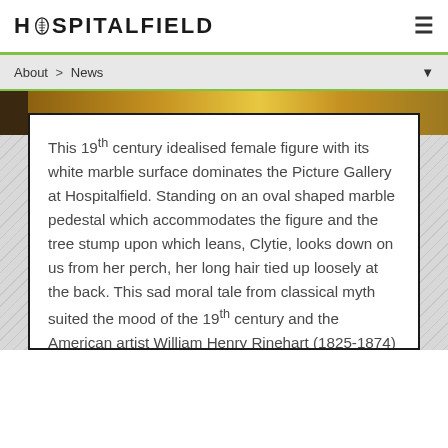HOSPITALFIELD
About > News
This 19th century idealised female figure with its white marble surface dominates the Picture Gallery at Hospitalfield. Standing on an oval shaped marble pedestal which accommodates the figure and the tree stump upon which leans, Clytie, looks down on us from her perch, her long hair tied up loosely at the back. This sad moral tale from classical myth suited the mood of the 19th century and the American artist William Henry Rinehart (1825-1874) who lived in Rome from 1858, created several versions of this sculpture to celebrate this desperate love story.